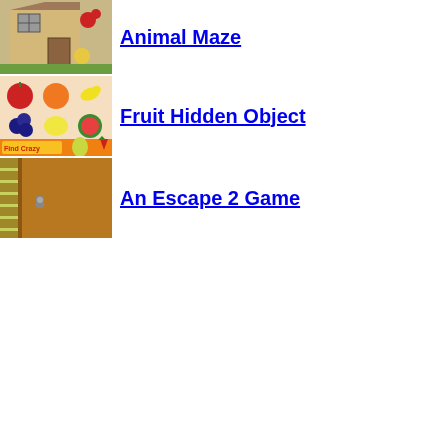[Figure (illustration): Thumbnail image for Animal Maze game showing a house exterior with grid window and cartoon animals]
Animal Maze
[Figure (illustration): Thumbnail image for Fruit Hidden Object game showing a grid of colorful fruits including apple, orange, banana, blueberries, lemon, watermelon, and strawberry with 'Find Crazy Fruit' text]
Fruit Hidden Object
[Figure (illustration): Thumbnail image for An Escape 2 Game showing a brown door with a small lock/handle]
An Escape 2 Game